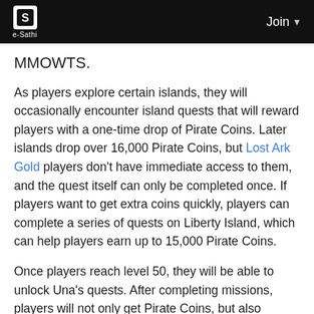e-Sathi | Join
MMOWTS.
As players explore certain islands, they will occasionally encounter island quests that will reward players with a one-time drop of Pirate Coins. Later islands drop over 16,000 Pirate Coins, but Lost Ark Gold players don't have immediate access to them, and the quest itself can only be completed once. If players want to get extra coins quickly, players can complete a series of quests on Liberty Island, which can help players earn up to 15,000 Pirate Coins.
Once players reach level 50, they will be able to unlock Una's quests. After completing missions, players will not only get Pirate Coins, but also